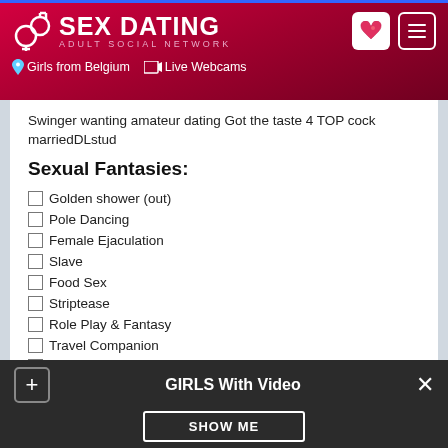SEX DATING ADULT SOCIAL NETWORK | Girls from Belgium | Live Webcams
Swinger wanting amateur dating Got the taste 4 TOP cock marriedDLstud
Sexual Fantasies:
Golden shower (out)
Pole Dancing
Female Ejaculation
Slave
Food Sex
Striptease
Role Play & Fantasy
Travel Companion
Lesbishow
GIRLS With Video SHOW ME